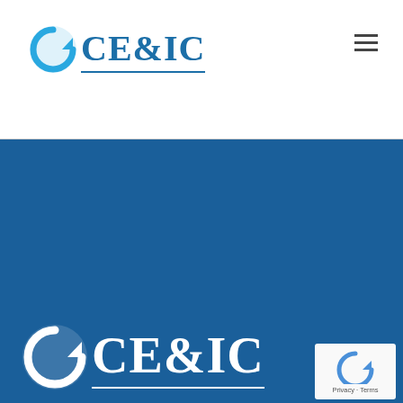[Figure (logo): CE&IC company logo in blue with circular arrow icon, shown in header nav bar]
[Figure (logo): CE&IC company logo in white on blue background, large version in hero section]
We are a full-service engineering and architectural design firm established in 1984 and focused on serving our pharmaceutical, biotechnology and specialty chemical clients.